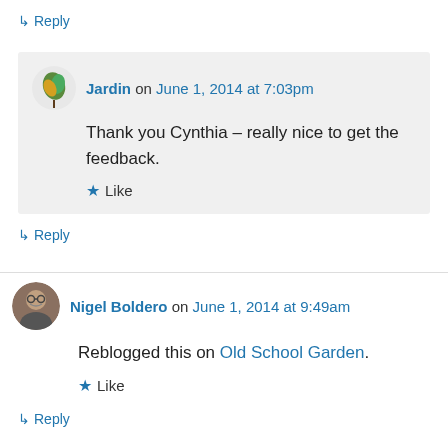↳ Reply
Jardin on June 1, 2014 at 7:03pm
Thank you Cynthia – really nice to get the feedback.
Like
↳ Reply
Nigel Boldero on June 1, 2014 at 9:49am
Reblogged this on Old School Garden.
Like
↳ Reply